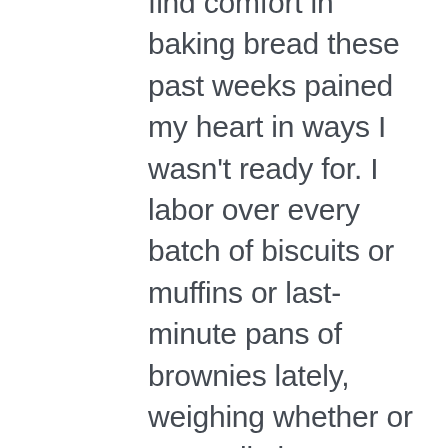find comfort in baking bread these past weeks pained my heart in ways I wasn't ready for. I labor over every batch of biscuits or muffins or last-minute pans of brownies lately, weighing whether or not to dip into our reserves of gluten free flour. It's an expensive specialty item that not everyone needs, so who knows whether it will be available in the coming months or not.